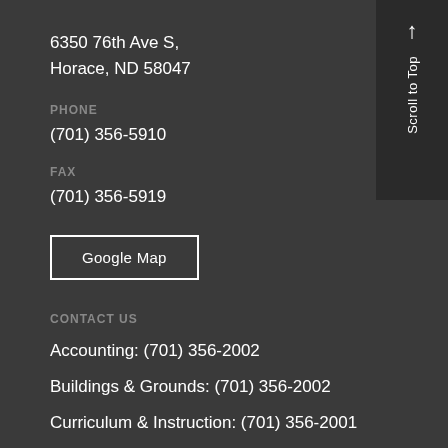6350 76th Ave S,
Horace, ND 58047
PHONE
(701) 356-5910
FAX
(701) 356-5919
Google Map
CONTACT US
Accounting: (701) 356-2002
Buildings & Grounds: (701) 356-2002
Curriculum & Instruction: (701) 356-2001